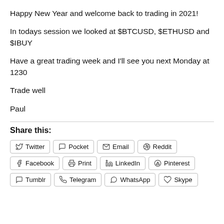Happy New Year and welcome back to trading in 2021!
In todays session we looked at $BTCUSD, $ETHUSD and $IBUY
Have a great trading week and I'll see you next Monday at 1230
Trade well
Paul
Share this: Twitter Pocket Email Reddit Facebook Print LinkedIn Pinterest Tumblr Telegram WhatsApp Skype